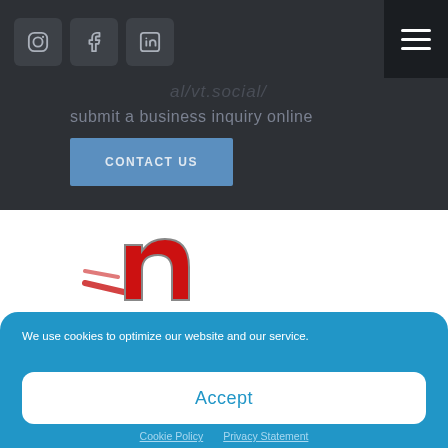[Figure (screenshot): Three social media icon buttons (Instagram, Facebook, LinkedIn) on dark background]
[Figure (screenshot): Hamburger menu icon (three horizontal lines) on dark background, top right]
al/vt.social/
submit a business inquiry online
CONTACT US
[Figure (logo): Red stylized letter 'n' with speed lines, company logo]
We use cookies to optimize our website and our service.
Accept
Cookie Policy  Privacy Statement